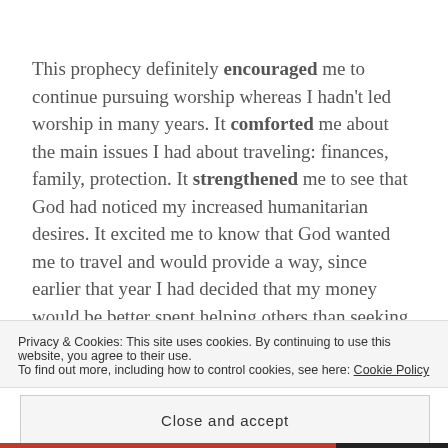This prophecy definitely encouraged me to continue pursuing worship whereas I hadn't led worship in many years. It comforted me about the main issues I had about traveling: finances, family, protection. It strengthened me to see that God had noticed my increased humanitarian desires. It excited me to know that God wanted me to travel and would provide a way, since earlier that year I had decided that my money would be better spent helping others than seeking my own pleasure. It's also
Privacy & Cookies: This site uses cookies. By continuing to use this website, you agree to their use.
To find out more, including how to control cookies, see here: Cookie Policy
Close and accept